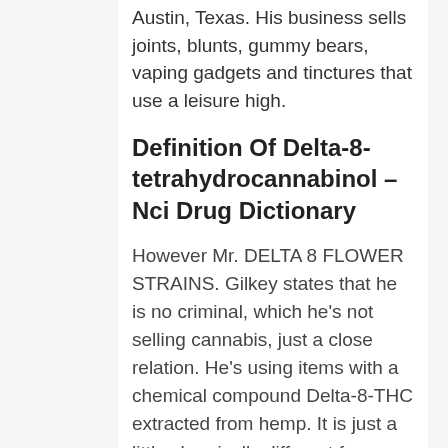Austin, Texas. His business sells joints, blunts, gummy bears, vaping gadgets and tinctures that use a leisure high.
Definition Of Delta-8-tetrahydrocannabinol – Nci Drug Dictionary
However Mr. DELTA 8 FLOWER STRAINS. Gilkey states that he is no criminal, which he's not selling cannabis, just a close relation. He's using items with a chemical compound Delta-8-THC extracted from hemp. It is just a little chemically different from Delta 9, which is the primary psychedelic